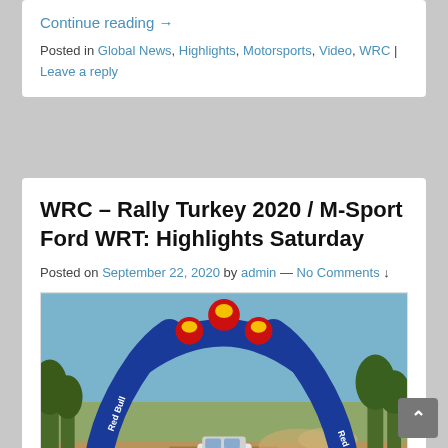Continue reading →
Posted in Global News, Highlights, Motorsports, Video, WRC | Leave a reply
WRC – Rally Turkey 2020 / M-Sport Ford WRT: Highlights Saturday
Posted on September 22, 2020 by admin — No Comments ↓
[Figure (photo): Rally car driving through a Red Bull branded inflatable arch on a dusty gravel road with trees and blue sky in background. FIA WRC branding visible. Asahi logo in bottom right corner.]